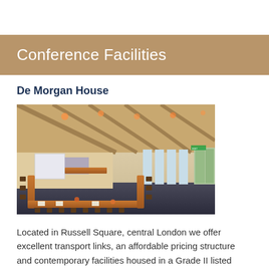Conference Facilities
De Morgan House
[Figure (photo): Interior of a conference room with U-shaped table arrangement, chairs, projection screen on the wall, skylights in the slanted ceiling with warm lighting, and large windows along the right wall leading to an outdoor area.]
Located in Russell Square, central London we offer excellent transport links, an affordable pricing structure and contemporary facilities housed in a Grade II listed